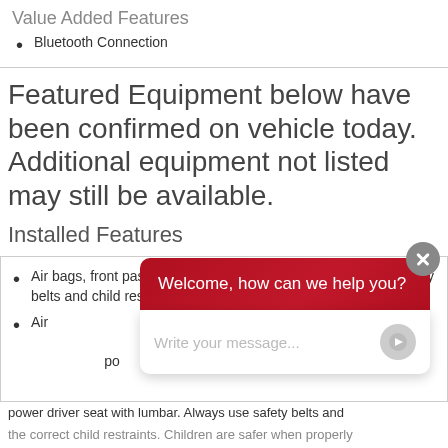Value Added Features
Bluetooth Connection
Featured Equipment below have been confirmed on vehicle today. Additional equipment not listed may still be available.
Installed Features
Air bags, front passenger air bag suppression (Always use safety belts and child restraints. Children are safer when properly secured in a rear seat in the appropriate child restraint)
Air bags, head curtain... passenger side... head... position... power driver seat with lumbar. Always use safety belts and the correct child restraints. Children are safer when properly...
Welcome, how can we help you?
Write your message...